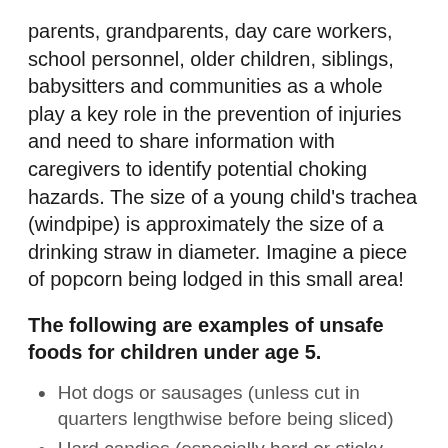parents, grandparents, day care workers, school personnel, older children, siblings, babysitters and communities as a whole play a key role in the prevention of injuries and need to share information with caregivers to identify potential choking hazards.  The size of a young child's trachea (windpipe) is approximately the size of a drinking straw in diameter. Imagine a piece of popcorn being lodged in this small area!
The following are examples of unsafe foods for children under age 5.
Hot dogs or sausages (unless cut in quarters lengthwise before being sliced)
Hard candies (especially hard or sticky candy), cough drops, gum, lollipops,